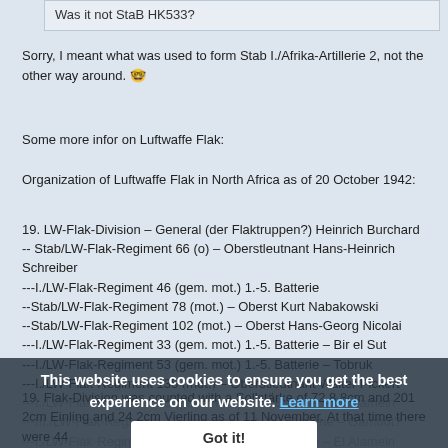Was it not StaB HK533?
Sorry, I meant what was used to form Stab I./Afrika-Artillerie 2, not the other way around. 🤓
Some more infor on Luftwaffe Flak:
Organization of Luftwaffe Flak in North Africa as of 20 October 1942:
19. LW-Flak-Division – General (der Flaktruppen?) Heinrich Burchard
-- Stab/LW-Flak-Regiment 66 (o) – Oberstleutnant Hans-Heinrich Schreiber
---I./LW-Flak-Regiment 46 (gem. mot.) 1.-5. Batterie
--Stab/LW-Flak-Regiment 78 (mot.) – Oberst Kurt Nabakowski
--Stab/LW-Flak-Regiment 102 (mot.) – Oberst Hans-Georg Nicolai
---I./LW-Flak-Regiment 33 (gem. mot.) 1.-5. Batterie – Bir el Sut
---I./LW-Flak-Regiment 53 (gem. mot.) 1.-5. Batterie – Tobruk
---I./LW-Flak-Regiment 135 (mot.) – Oberstleutnant Walter Pickert
---I./LW-Flak-Regiment 18 (gem. mot.) 1.-5. Batterie – El Alamein
---III./LW-Flak-Regiment 23 (gem. mot.) 9.-12. Batterie – Gambut?
---I./LW-Flak-Regiment 43 (gem. mot.) 1.-5. Batterie – El Alamein
---I./LW-Flak-Regiment 6 (gem. mot.) 1.-5. Batterie – El Alamein
This website uses cookies to ensure you get the best experience on our website. Learn more
Got it!
19. Flak-Division was counted with a Sollstärke of 72 8.8cm and 201 2cm Einling and 24 2cm Vierling as of 11 November. At that time there were 44